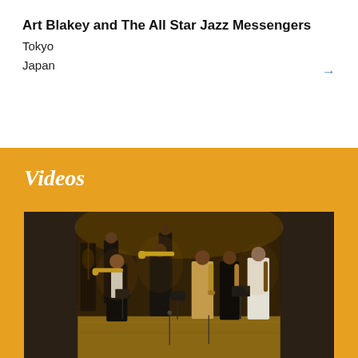Art Blakey and The All Star Jazz Messengers
Tokyo
Japan
Videos
[Figure (photo): Jazz musicians performing on stage, playing trumpets, saxophones, and other instruments. Musicians are dressed in formal attire including tuxedos and suits. Music stands are visible. Photo appears to be from a televised concert performance.]